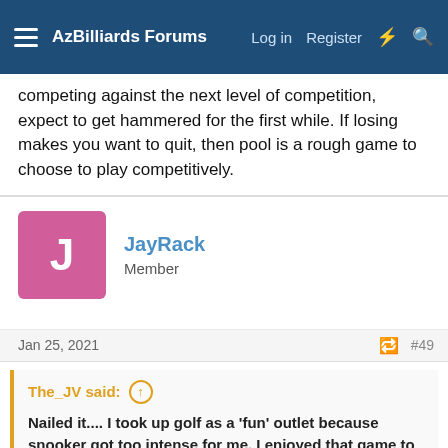AzBilliards Forums — Log in  Register
competing against the next level of competition, expect to get hammered for the first while. If losing makes you want to quit, then pool is a rough game to choose to play competitively.
JayRack
Member
Jan 25, 2021  #49
The_JV said:
Nailed it.... I took up golf as a 'fun' outlet because snooker got too intense for me. I enjoyed that game to no end but I put so much expectation on myself that I couldn't reach that I got burnt out and stopped playing in an effort to compete.
When I'm attempting to dial in my potting focus I'll jump on the snooker table for 10mins. Nothing resets your bad tendencies then watching every shot rattle to the jaws of a snooker pocket.
Click to expand...